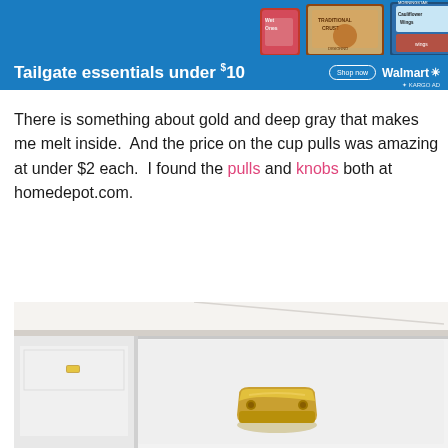[Figure (photo): Walmart advertisement banner for 'Tailgate essentials under $10' showing food product packages (Wet Ones, pizza, cauliflower wings) on a blue background with Shop Now button and Walmart logo]
There is something about gold and deep gray that makes me melt inside.  And the price on the cup pulls was amazing at under $2 each.  I found the pulls and knobs both at homedepot.com.
[Figure (photo): Close-up photo of white kitchen cabinet drawers with a gold/brass cup pull hardware handle, showing white painted wood cabinet with gold metallic cup pull]